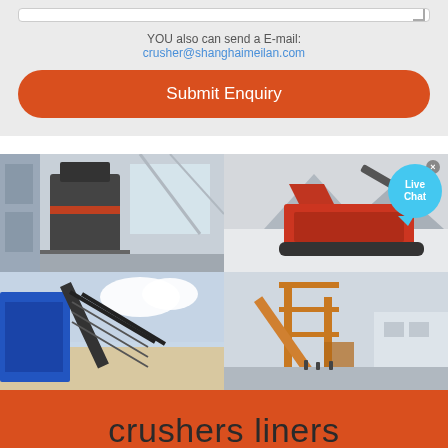YOU also can send a E-mail: crusher@shanghaimeilan.com
Submit Enquiry
[Figure (photo): Four-panel photo grid showing industrial mining and crushing equipment: top-left shows a large grinding mill in an industrial building interior; top-right shows a mobile crusher/screener operating in a snowy environment; bottom-left shows a blue conveyor belt and crusher machinery; bottom-right shows a large orange crane and conveyor structure at a mining site. A 'Live Chat' chat bubble overlay appears in the top-right corner.]
crushers liners